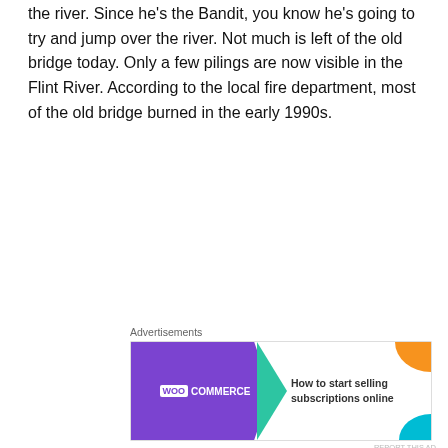the river. Since he's the Bandit, you know he's going to try and jump over the river. Not much is left of the old bridge today. Only a few pilings are now visible in the Flint River. According to the local fire department, most of the old bridge burned in the early 1990s.
[Figure (screenshot): WooCommerce advertisement banner: 'How to start selling subscriptions online']
Photo location: Flint River Road, Jonesboro, Georgia
[Figure (photo): Outdoor photograph showing buildings including a Wickes store sign, a pavilion structure, and a bus or truck in background under a grey sky]
[Figure (screenshot): Ulta Beauty advertisement banner with makeup photos and 'SHOP NOW' call to action]